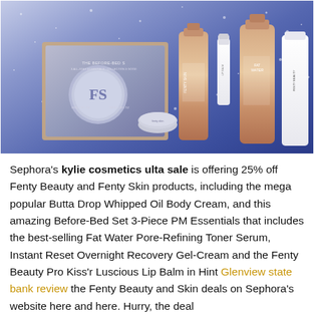[Figure (photo): Product photo of Fenty Skin Before-Bed Set 3-Piece PM Essentials gift set, showing multiple beauty products including rose gold bottles, a serum, lip balm, and a round compact, arranged against a sparkly blue-purple background.]
Sephora's kylie cosmetics ulta sale is offering 25% off Fenty Beauty and Fenty Skin products, including the mega popular Butta Drop Whipped Oil Body Cream, and this amazing Before-Bed Set 3-Piece PM Essentials that includes the best-selling Fat Water Pore-Refining Toner Serum, Instant Reset Overnight Recovery Gel-Cream and the Fenty Beauty Pro Kiss'r Luscious Lip Balm in Hint Glenview state bank review the Fenty Beauty and Skin deals on Sephora's website here and here. Hurry, the deal